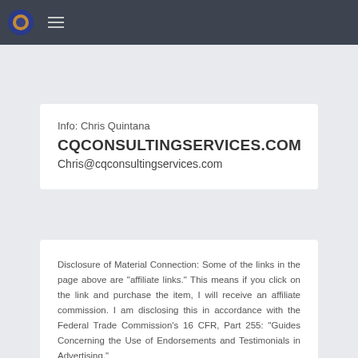CQCONSULTINGSERVICES.COM
Info: Chris Quintana
CQCONSULTINGSERVICES.COM
Chris@cqconsultingservices.com
Disclosure of Material Connection: Some of the links in the page above are "affiliate links." This means if you click on the link and purchase the item, I will receive an affiliate commission. I am disclosing this in accordance with the Federal Trade Commission's 16 CFR, Part 255: "Guides Concerning the Use of Endorsements and Testimonials in Advertising."